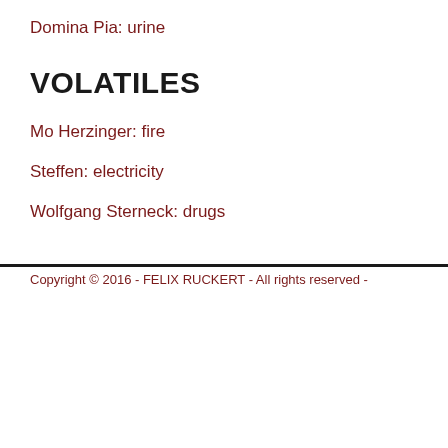Domina Pia: urine
VOLATILES
Mo Herzinger: fire
Steffen: electricity
Wolfgang Sterneck: drugs
Copyright © 2016 - FELIX RUCKERT - All rights reserved -